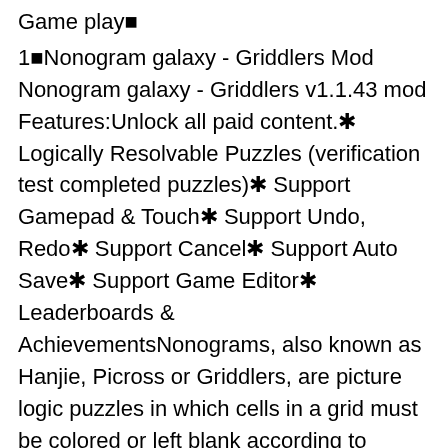Game play■
1■Nonogram galaxy - Griddlers Mod Nonogram galaxy - Griddlers v1.1.43 mod Features:Unlock all paid content.✱ Logically Resolvable Puzzles (verification test completed puzzles)✱ Support Gamepad & Touch✱ Support Undo, Redo✱ Support Cancel✱ Support Auto Save✱ Support Game Editor✱ Leaderboards & AchievementsNonograms, also known as Hanjie, Picross or Griddlers, are picture logic puzzles in which cells in a grid must be colored or left blank according to numbers at the side of the grid to reveal a hidden picture.◆
2■◆A WOLF, passing by, saw some Shepherds in a hut eating a haunch of mutton for their dinner. Approaching them, he said, "What a clamor you would raise if I were to do as you are doing!"
3■<p>It's not much to go on so far, but we may be getting something from the popular publisher, Level-5 (Professor Layton, Ni no Kuni, Yo-Kai Watch) on the Nintendo Switch.</p>
<p>Siliconera noted that during Akihiro Hino's interview with